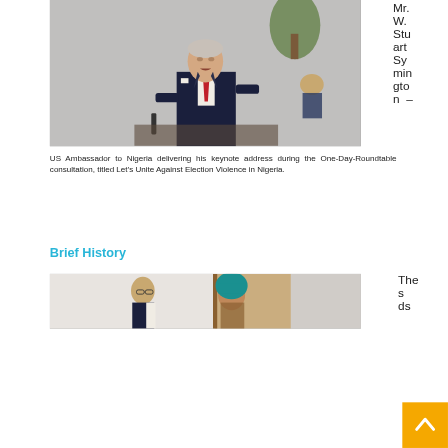[Figure (photo): Photo of Mr. W. Stuart Symington, US Ambassador to Nigeria, delivering keynote address at a roundtable consultation on election violence]
Mr. W. Stuart Symington – US Ambassador to Nigeria delivering his keynote address during the One-Day-Roundtable consultation, titled Let's Unite Against Election Violence in Nigeria.
Brief History
[Figure (photo): Photo of two people at the Brief History section]
The s ds